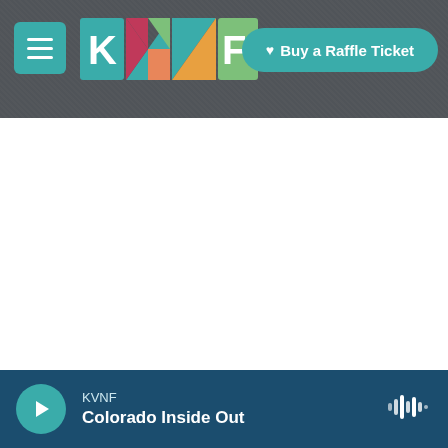[Figure (screenshot): KVNF public radio website header with teal hamburger menu button, colorful KVNF logo (letters K V N F in teal, pink/magenta, orange, green geometric shapes), and a teal 'Buy a Raffle Ticket' button on a dark rocky/gravel background photo.]
KVNF — Colorado Inside Out — audio player bar with play button and waveform icon